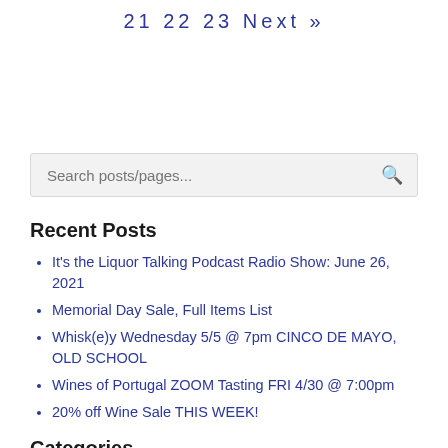21  22  23  Next »
Search posts/pages...
Recent Posts
It's the Liquor Talking Podcast Radio Show: June 26, 2021
Memorial Day Sale, Full Items List
Whisk(e)y Wednesday 5/5 @ 7pm CINCO DE MAYO, OLD SCHOOL
Wines of Portugal ZOOM Tasting FRI 4/30 @ 7:00pm
20% off Wine Sale THIS WEEK!
Categories